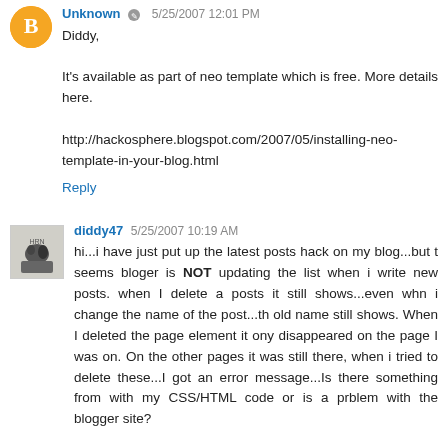Unknown 5/25/2007 12:01 PM
Diddy,

It's available as part of neo template which is free. More details here.

http://hackosphere.blogspot.com/2007/05/installing-neo-template-in-your-blog.html
Reply
diddy47 5/25/2007 10:19 AM
hi...i have just put up the latest posts hack on my blog...but it seems bloger is NOT updating the list when i write new posts. when I delete a posts it still shows...even whn i change the name of the post...th old name still shows. When I deleted the page element it ony disappeared on the page I was on. On the other pages it was still there, when i tried to delete these...I got an error message...Is there something from with my CSS/HTML code or is a prblem with the blogger site?